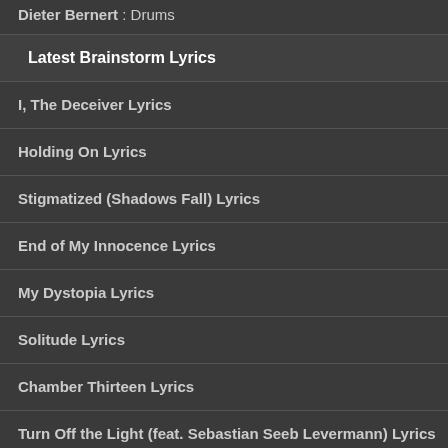Dieter Bernert : Drums
Latest Brainstorm Lyrics
I, The Deceiver Lyrics
Holding On Lyrics
Stigmatized (Shadows Fall) Lyrics
End of My Innocence Lyrics
My Dystopia Lyrics
Solitude Lyrics
Chamber Thirteen Lyrics
Turn Off the Light (feat. Sebastian Seeb Levermann) Lyrics